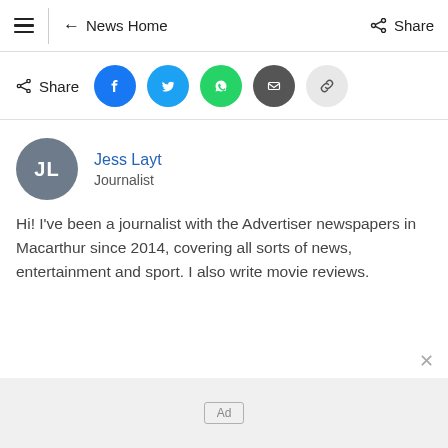≡ ← News Home  Share
Share
[Figure (screenshot): Social share icons: Facebook, Twitter, WhatsApp, Email, Link]
[Figure (illustration): Author avatar circle with initials JL on grey background]
Jess Layt
Journalist
Hi! I've been a journalist with the Advertiser newspapers in Macarthur since 2014, covering all sorts of news, entertainment and sport. I also write movie reviews.
Ad